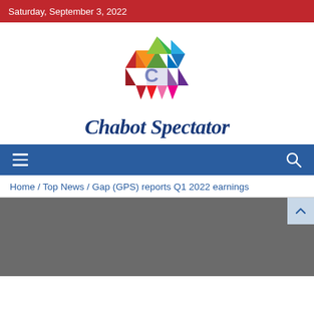Saturday, September 3, 2022
[Figure (logo): Chabot Spectator logo: colorful geometric hexagon made of triangles with a 'C' letter shape, above the italic text 'Chabot Spectator']
Home / Top News / Gap (GPS) reports Q1 2022 earnings
[Figure (photo): Dark gray image area, partially visible, representing a news article image]